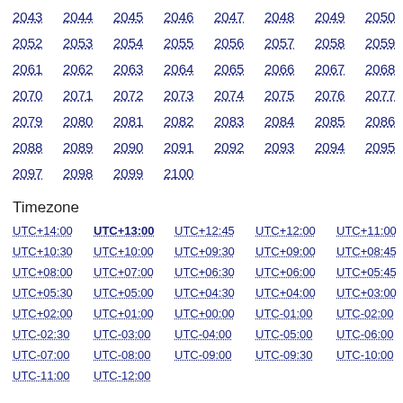2043 2044 2045 2046 2047 2048 2049 2050 2051 2052 2053 2054 2055 2056 2057 2058 2059 2060 2061 2062 2063 2064 2065 2066 2067 2068 2069 2070 2071 2072 2073 2074 2075 2076 2077 2078 2079 2080 2081 2082 2083 2084 2085 2086 2087 2088 2089 2090 2091 2092 2093 2094 2095 2096 2097 2098 2099 2100
Timezone
UTC+14:00 UTC+13:00 UTC+12:45 UTC+12:00 UTC+11:00 UTC+10:30 UTC+10:00 UTC+09:30 UTC+09:00 UTC+08:45 UTC+08:00 UTC+07:00 UTC+06:30 UTC+06:00 UTC+05:45 UTC+05:30 UTC+05:00 UTC+04:30 UTC+04:00 UTC+03:00 UTC+02:00 UTC+01:00 UTC+00:00 UTC-01:00 UTC-02:00 UTC-02:30 UTC-03:00 UTC-04:00 UTC-05:00 UTC-06:00 UTC-07:00 UTC-08:00 UTC-09:00 UTC-09:30 UTC-10:00 UTC-11:00 UTC-12:00